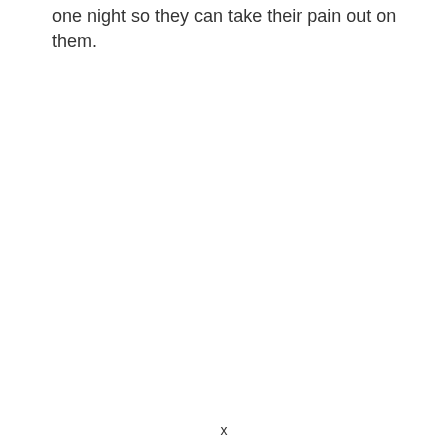one night so they can take their pain out on them.
x